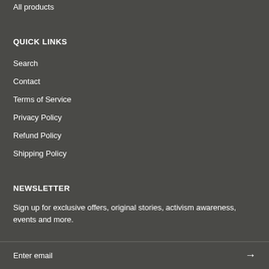All products
QUICK LINKS
Search
Contact
Terms of Service
Privacy Policy
Refund Policy
Shipping Policy
NEWSLETTER
Sign up for exclusive offers, original stories, activism awareness, events and more.
Enter email →